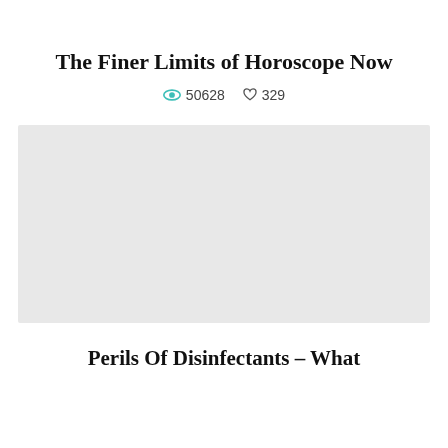The Finer Limits of Horoscope Now
👁 50628  ♡ 329
[Figure (photo): Large light gray placeholder image block]
Perils Of Disinfectants – What